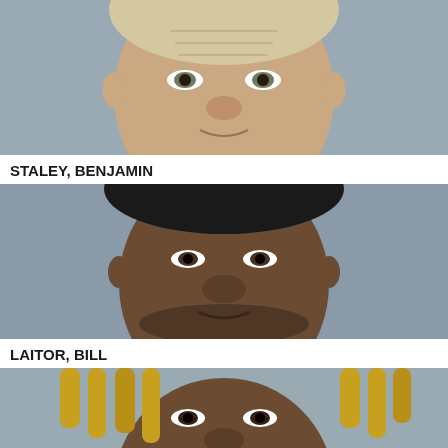[Figure (photo): Mugshot of an older white male with short blond/grey hair, close-up face shot against a grey background]
STALEY, BENJAMIN
[Figure (photo): Mugshot of a young Black male with short dark hair and beard, close-up face shot against a grey background]
LAITOR, BILL
[Figure (photo): Mugshot of a young Black male with blond dreadlocks, close-up face shot against a grey background, partially cropped]